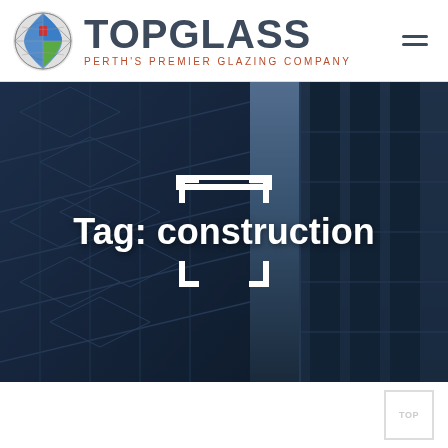[Figure (logo): TopGlass logo: globe icon on left, 'TOPGLASS' in large dark grey letters, subtitle 'PERTH'S PREMIER GLAZING COMPANY' in red-brown below, hamburger menu icon on far right]
[Figure (photo): Hero banner showing a modern building facade with angular blue glass/metal panels, dark blue toned, with a white bracket/tag icon frame and bold white text reading 'Tag: construction']
Tag: construction